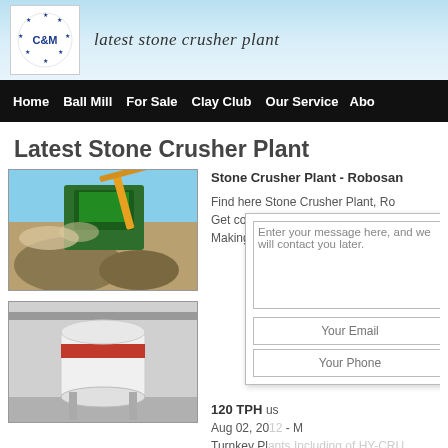[Figure (logo): C&M logo with blue stars in a circle on white background]
latest stone crusher plant
Home   Ball Mill   For Sale   Clay Club   Our Service   About
Latest Stone Crusher Plant
[Figure (photo): Stone crusher plant machine in operation outdoors with rocks and dust]
[Figure (photo): Large white industrial mill machine indoors with red stripe]
Stone Crusher Plant - Robosan
Find here Stone Crusher Plant, Robosan. Get contact details & address of companies manufacturing & supplying Stone Making Ma...
120 TPH ... us
Aug 02, 20... - M Turnkey Plants Including of HY-CRU... CRAWLERS, WHEEL ...